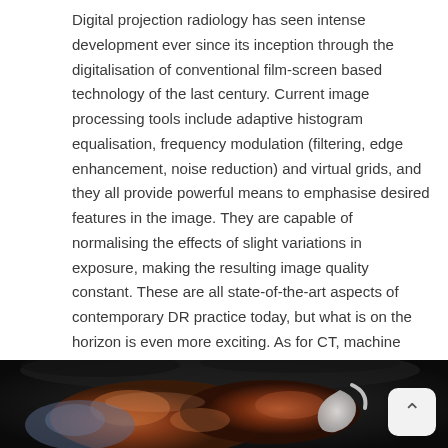Digital projection radiology has seen intense development ever since its inception through the digitalisation of conventional film-screen based technology of the last century. Current image processing tools include adaptive histogram equalisation, frequency modulation (filtering, edge enhancement, noise reduction) and virtual grids, and they all provide powerful means to emphasise desired features in the image. They are capable of normalising the effects of slight variations in exposure, making the resulting image quality constant. These are all state-of-the-art aspects of contemporary DR practice today, but what is on the horizon is even more exciting. As for CT, machine learning based algorithms for duties such as lung nodule detection are already commercialised and approved for clinical use.
[Figure (photo): Partial view of an anatomical or medical image showing what appears to be internal organs or a medical scan/model against a dark background, cropped at the bottom of the page.]